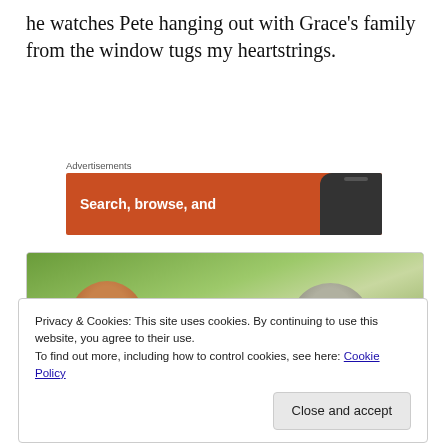he watches Pete hanging out with Grace's family from the window tugs my heartstrings.
Advertisements
[Figure (screenshot): Orange advertisement banner with text 'Search, browse, and' and a smartphone image on the right]
[Figure (photo): Two people viewed from behind outdoors with green foliage background]
Privacy & Cookies: This site uses cookies. By continuing to use this website, you agree to their use.
To find out more, including how to control cookies, see here: Cookie Policy
Close and accept